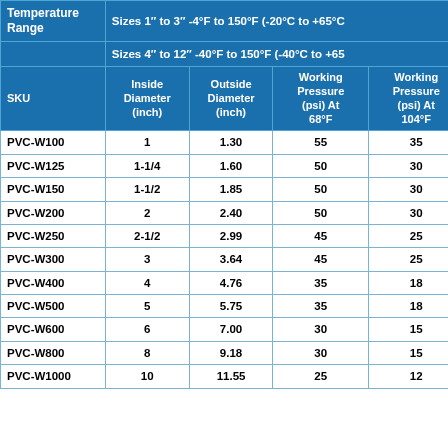| SKU | Inside Diameter (inch) | Outside Diameter (inch) | Working Pressure (psi) At 68°F | Working Pressure (psi) At 104°F | Vacuum Rating (in.Hg) At 68°F |
| --- | --- | --- | --- | --- | --- |
| Temperature Range | Sizes 1" to 3" -4°F to 150°F (-20°C to +65°C) |  |  |  |  |
|  | Sizes 4" to 12" -40°F to 150°F (-40°C to +65°C) |  |  |  |  |
| PVC-W100 | 1 | 1.30 | 55 | 35 | Full |
| PVC-W125 | 1-1/4 | 1.60 | 50 | 30 | Full |
| PVC-W150 | 1-1/2 | 1.85 | 50 | 30 | Full |
| PVC-W200 | 2 | 2.40 | 50 | 30 | Full |
| PVC-W250 | 2-1/2 | 2.99 | 45 | 25 | Full |
| PVC-W300 | 3 | 3.64 | 45 | 25 | Full |
| PVC-W400 | 4 | 4.76 | 35 | 18 | Full |
| PVC-W500 | 5 | 5.75 | 35 | 18 | 28 |
| PVC-W600 | 6 | 7.00 | 30 | 15 | 28 |
| PVC-W800 | 8 | 9.18 | 30 | 15 | 28 |